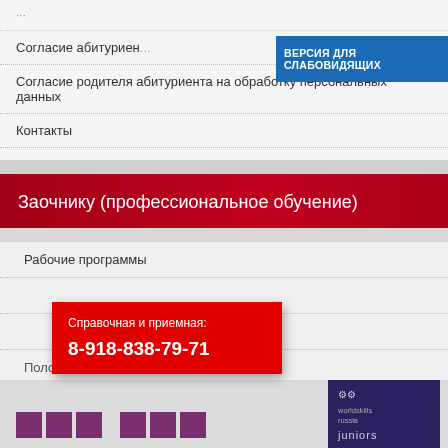Согласие абитуриента...
[Figure (screenshot): Blue accessibility button: ВЕРСИЯ ДЛЯ СЛАБОВИДЯЩИХ]
Согласие родителя абитуриента на обработку персональных данных
Контакты
Заочнику (профессиональное обучение)
Рабочие программы
[Figure (infographic): Red popup box: Справочная и приемная: 8-918-838-79-71]
Положения
[Figure (logo): WorldSkills Russia Juniors logo on dark blue background]
[Figure (screenshot): Social media icons row at bottom]